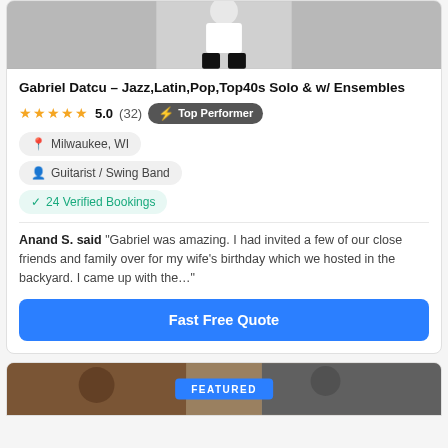[Figure (photo): Photo of performer Gabriel Datcu, partially cropped at top, showing figure in white t-shirt against gray background]
Gabriel Datcu - Jazz,Latin,Pop,Top40s Solo & w/ Ensembles
★★★★★ 5.0 (32) ⚡ Top Performer
Milwaukee, WI
Guitarist / Swing Band
✓ 24 Verified Bookings
Anand S. said "Gabriel was amazing. I had invited a few of our close friends and family over for my wife's birthday which we hosted in the backyard. I came up with the..."
Fast Free Quote
[Figure (photo): Bottom photo partially visible showing performers at event with FEATURED badge overlay]